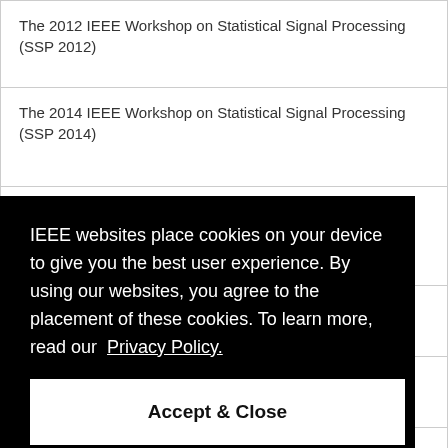| The 2012 IEEE Workshop on Statistical Signal Processing (SSP 2012) |
| The 2014 IEEE Workshop on Statistical Signal Processing (SSP 2014) |
| The 2016 IEEE Workshop on Statistical Signal Processing (SSP 2016) |
| [partially visible] …ICT-… |
| [partially visible] …s and… |
| [partially visible] …ed …orks |
| The 20th National Conference on Communications (NCC… |
IEEE websites place cookies on your device to give you the best user experience. By using our websites, you agree to the placement of these cookies. To learn more, read our Privacy Policy.
Accept & Close